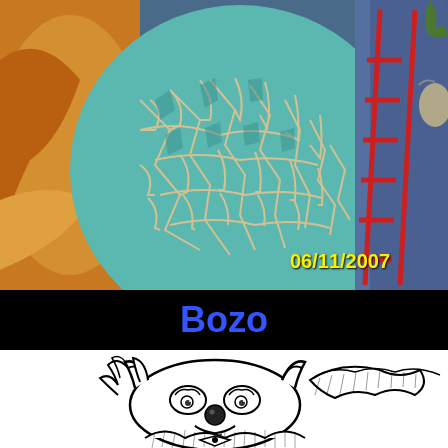[Figure (photo): Photograph dated 06/11/2007 showing a large teal/turquoise mosaic egg-shaped structure with crackled tile pattern, set against orange-yellow textured wall on the left. A red metal ladder stands to the right. A bag hangs from the ladder. The date stamp '06/11/2007' appears in yellow in the lower right of the photo.]
Bozo
[Figure (illustration): Black and white cartoon illustration of Bozo the Clown - a clown character with spiky hair on the sides of the head, a round nose, and a ruffled collar, drawn in a classic comic/cartoon style.]